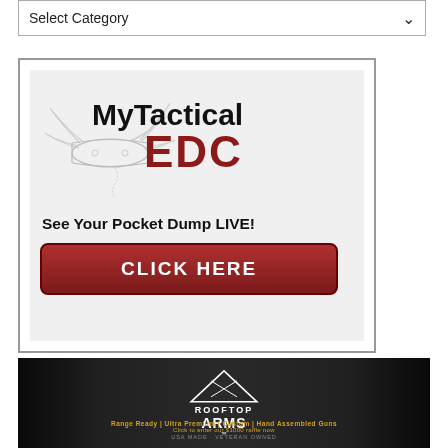[Figure (screenshot): Dropdown selector with 'Select Category' placeholder text and dropdown arrow]
[Figure (illustration): MyTactical EDC advertisement with Swiss army knife illustration, logo, tagline 'See Your Pocket Dump LIVE!' and red 'CLICK HERE' button]
[Figure (photo): Rooftop Arms advertisement banner with logo, guns/firearms imagery, tagline 'Range Ready | Ultra Premium | Custom | Hand Assembled Guns', and 'Click to enter our $1000 raffle now', 'USA MADE · VETERAN OWNED']